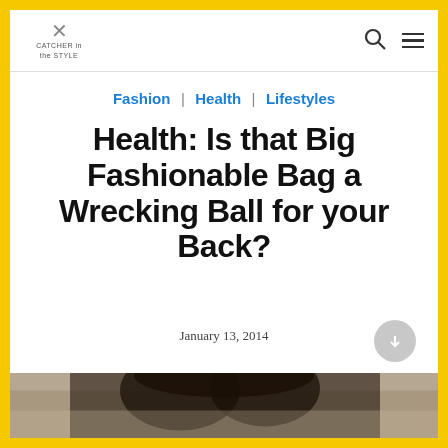CATCHER in the STYLE
Fashion | Health | Lifestyles
Health: Is that Big Fashionable Bag a Wrecking Ball for your Back?
January 13, 2014
[Figure (photo): Woman with dark hair photographed from behind/above, facing away from camera]